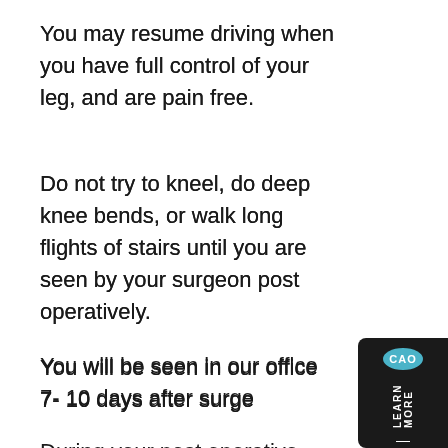You may resume driving when you have full control of your leg, and are pain free.
Do not try to kneel, do deep knee bends, or walk long flights of stairs until you are seen by your surgeon post operatively.
You will be seen in our office 7- 10 days after surgery.
During your post operative visit your stitches will be removed and your knee x-rayed. The physician will discuss any physical therapy you may need at this time.
[Figure (other): Dark sidebar widget with CAO logo circle and 'LEARN MORE' vertical text]